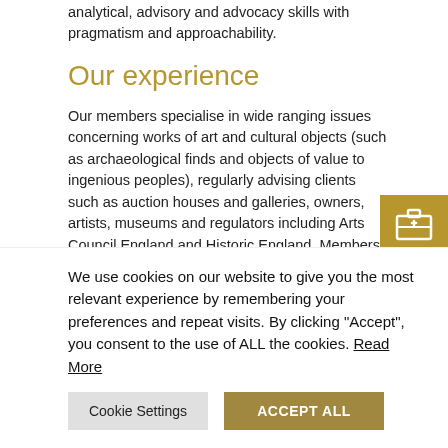analytical, advisory and advocacy skills with pragmatism and approachability.
Our experience
Our members specialise in wide ranging issues concerning works of art and cultural objects (such as archaeological finds and objects of value to ingenious peoples), regularly advising clients such as auction houses and galleries, owners, artists, museums and regulators including Arts Council England and Historic England. Members of the group are also Direct Access qualified, and are able to accept instructions directly. Chambers is a corporate member of the Institute of Art and Law.
Areas of legal practice include:
We use cookies on our website to give you the most relevant experience by remembering your preferences and repeat visits. By clicking “Accept”, you consent to the use of ALL the cookies. Read More
Cookie Settings | ACCEPT ALL